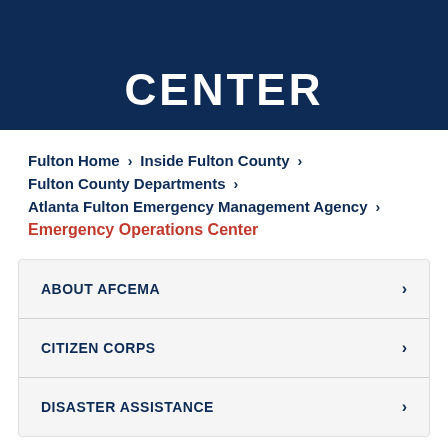CENTER
Fulton Home > Inside Fulton County >
Fulton County Departments >
Atlanta Fulton Emergency Management Agency >
Emergency Operations Center
ABOUT AFCEMA
CITIZEN CORPS
DISASTER ASSISTANCE